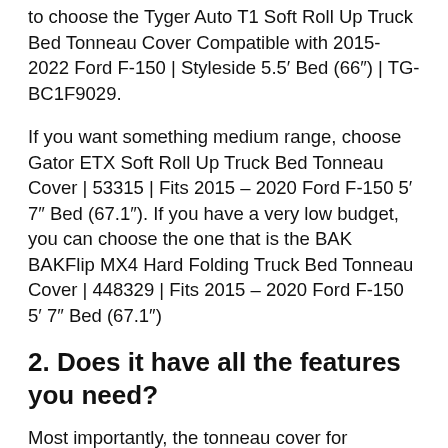to choose the Tyger Auto T1 Soft Roll Up Truck Bed Tonneau Cover Compatible with 2015-2022 Ford F-150 | Styleside 5.5′ Bed (66″) | TG-BC1F9029.
If you want something medium range, choose Gator ETX Soft Roll Up Truck Bed Tonneau Cover | 53315 | Fits 2015 – 2020 Ford F-150 5′ 7″ Bed (67.1″). If you have a very low budget, you can choose the one that is the BAK BAKFlip MX4 Hard Folding Truck Bed Tonneau Cover | 448329 | Fits 2015 – 2020 Ford F-150 5′ 7″ Bed (67.1″)
2. Does it have all the features you need?
Most importantly, the tonneau cover for